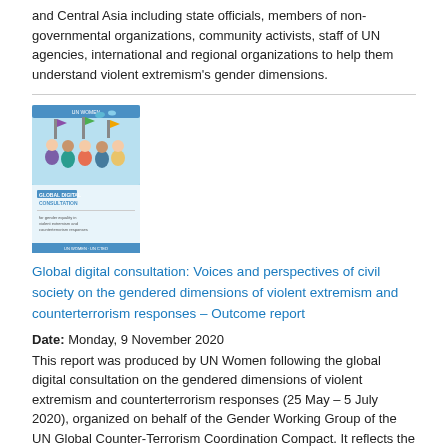and Central Asia including state officials, members of non-governmental organizations, community activists, staff of UN agencies, international and regional organizations to help them understand violent extremism's gender dimensions.
[Figure (illustration): Book cover of 'Global Digital Consultation' report showing illustrated people and birds on a light blue background]
Global digital consultation: Voices and perspectives of civil society on the gendered dimensions of violent extremism and counterterrorism responses – Outcome report
Date: Monday, 9 November 2020
This report was produced by UN Women following the global digital consultation on the gendered dimensions of violent extremism and counterterrorism responses (25 May – 5 July 2020), organized on behalf of the Gender Working Group of the UN Global Counter-Terrorism Coordination Compact. It reflects the views expressed by civil society participants in the consultation, and it was presented to Member States ahead of the 7th UN Global Counter-Terrorism